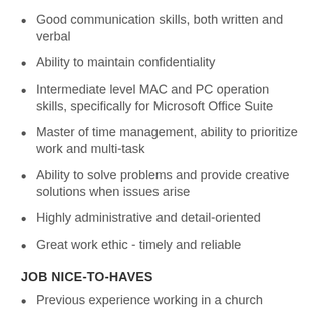Good communication skills, both written and verbal
Ability to maintain confidentiality
Intermediate level MAC and PC operation skills, specifically for Microsoft Office Suite
Master of time management, ability to prioritize work and multi-task
Ability to solve problems and provide creative solutions when issues arise
Highly administrative and detail-oriented
Great work ethic - timely and reliable
JOB NICE-TO-HAVES
Previous experience working in a church